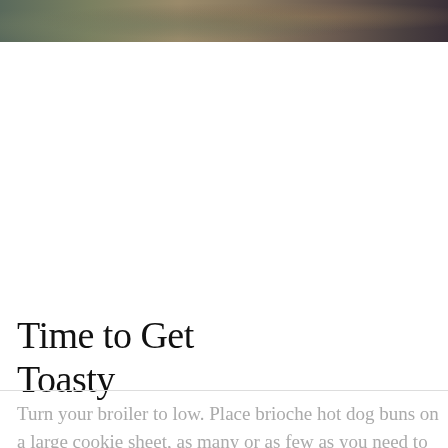[Figure (photo): Partial photo of what appears to be a kitchen or food preparation surface, showing a blurred background with dark and earthy tones — a cropped strip visible at the top of the page.]
Time to Get Toasty
Turn your broiler to low. Place brioche hot dog buns on a large cookie sheet, as many or as few as you need to